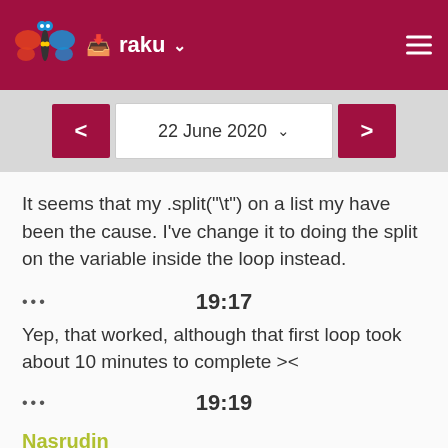raku
22 June 2020
It seems that my .split("\t") on a list my have been the cause. I've change it to doing the split on the variable inside the loop instead.
••• 19:17
Yep, that worked, although that first loop took about 10 minutes to complete ><
••• 19:19
Nasrudin
What is the preferred method of finding memory leaks in Raku?